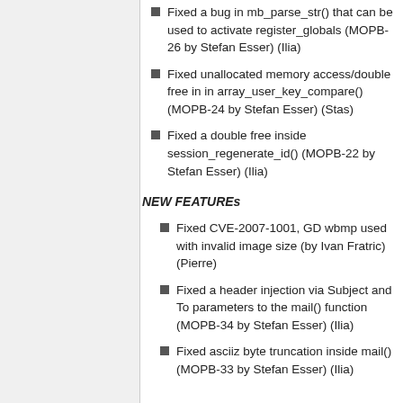Fixed a bug in mb_parse_str() that can be used to activate register_globals (MOPB-26 by Stefan Esser) (Ilia)
Fixed unallocated memory access/double free in in array_user_key_compare() (MOPB-24 by Stefan Esser) (Stas)
Fixed a double free inside session_regenerate_id() (MOPB-22 by Stefan Esser) (Ilia)
NEW FEATUREs
Fixed CVE-2007-1001, GD wbmp used with invalid image size (by Ivan Fratric) (Pierre)
Fixed a header injection via Subject and To parameters to the mail() function (MOPB-34 by Stefan Esser) (Ilia)
Fixed asciiz byte truncation inside mail() (MOPB-33 by Stefan Esser) (Ilia)